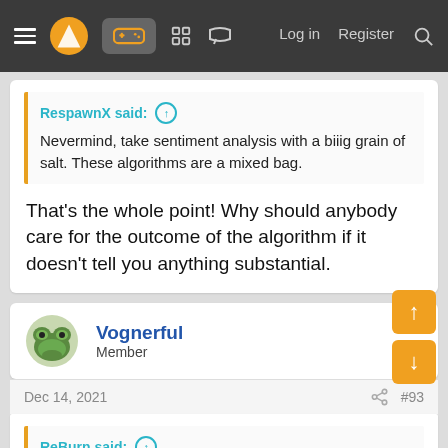Navigation bar with menu, logo, game controller icon, grid icon, chat icon, Log in, Register, Search
RespawnX said: Nevermind, take sentiment analysis with a biiig grain of salt. These algorithms are a mixed bag.
That's the whole point! Why should anybody care for the outcome of the algorithm if it doesn't tell you anything substantial.
Vognerful
Member
Dec 14, 2021  #93
ReBurn said: Forget Twitter, Amazon rankings and UK boxed charts are the only true metrics.